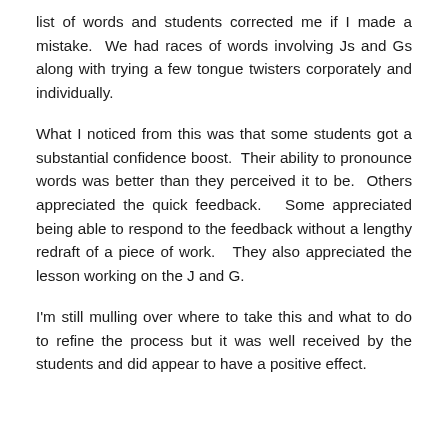list of words and students corrected me if I made a mistake.  We had races of words involving Js and Gs along with trying a few tongue twisters corporately and individually.
What I noticed from this was that some students got a substantial confidence boost.  Their ability to pronounce words was better than they perceived it to be.  Others appreciated the quick feedback.   Some appreciated being able to respond to the feedback without a lengthy redraft of a piece of work.   They also appreciated the lesson working on the J and G.
I'm still mulling over where to take this and what to do to refine the process but it was well received by the students and did appear to have a positive effect.